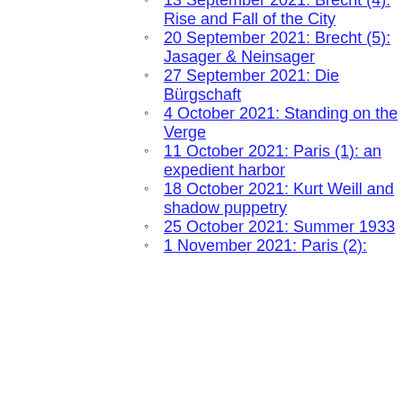13 September 2021: Brecht (4): Rise and Fall of the City
20 September 2021: Brecht (5): Jasager & Neinsager
27 September 2021: Die Bürgschaft
4 October 2021: Standing on the Verge
11 October 2021: Paris (1): an expedient harbor
18 October 2021: Kurt Weill and shadow puppetry
25 October 2021: Summer 1933
1 November 2021: Paris (2):